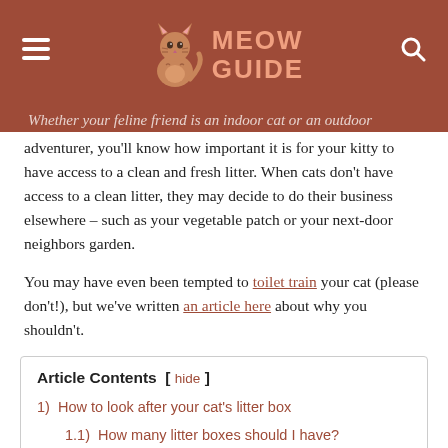MEOW GUIDE
Whether your feline friend is an indoor cat or an outdoor adventurer, you'll know how important it is for your kitty to have access to a clean and fresh litter. When cats don't have access to a clean litter, they may decide to do their business elsewhere – such as your vegetable patch or your next-door neighbors garden.
You may have even been tempted to toilet train your cat (please don't!), but we've written an article here about why you shouldn't.
Article Contents [ hide ]
1)  How to look after your cat's litter box
1.1)  How many litter boxes should I have?
1.2)  How often should I change the litter?